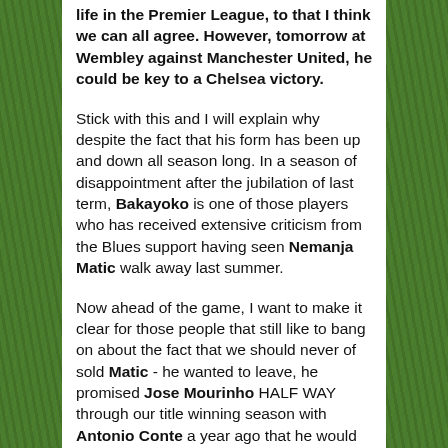life in the Premier League, to that I think we can all agree. However, tomorrow at Wembley against Manchester United, he could be key to a Chelsea victory.
Stick with this and I will explain why despite the fact that his form has been up and down all season long. In a season of disappointment after the jubilation of last term, Bakayoko is one of those players who has received extensive criticism from the Blues support having seen Nemanja Matic walk away last summer.
Now ahead of the game, I want to make it clear for those people that still like to bang on about the fact that we should never of sold Matic - he wanted to leave, he promised Jose Mourinho HALF WAY through our title winning season with Antonio Conte a year ago that he would sign for